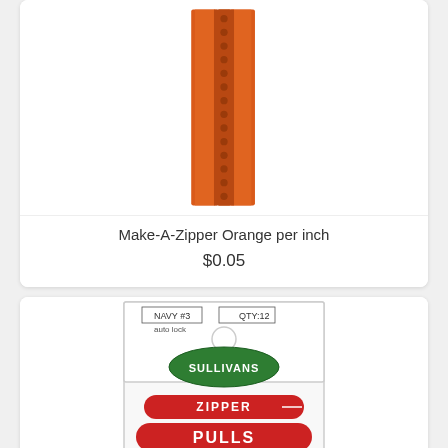[Figure (photo): Orange zipper tape close-up, showing the zipper coil and tape in bright orange color, cropped to show just the zipper strip vertically]
Make-A-Zipper Orange per inch
$0.05
[Figure (photo): Sullivans brand Zipper Pulls package - Navy #3, auto lock, QTY:12, ITEM #96036. White card header with green oval Sullivans logo, red banner saying ZIPPER PULLS, and a clear plastic bag containing 12 navy blue zipper pull sliders below.]